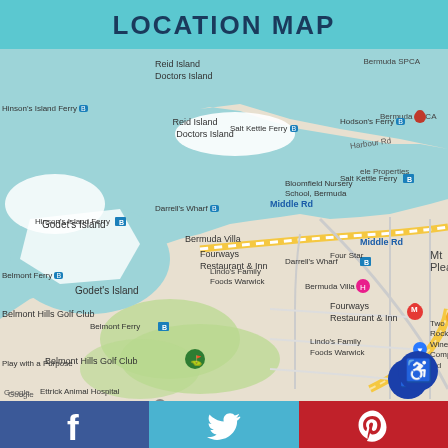LOCATION MAP
[Figure (map): Google Maps screenshot showing Paget/Warwick Parish area of Bermuda, featuring landmarks: Reid Island, Doctors Island, Bermuda SPCA, Hinson's Island Ferry, Salt Kettle Ferry, Hodson's Ferry, Bloomfield Nursery School Bermuda, ele Properties, Darrell's Wharf, Bermuda Villa, Fourways Restaurant & Inn, Four Star, Lindo's Family Foods Warwick, Belmont Ferry, Belmont Hills Golf Club, Mt Pleasant, Two Rock Wine Company Ltd, Play with a Purpose, Ettrick Animal Hospital, roads including Middle Rd, Harbour Rd, Ord Rd, South Rd, and the Paget Parish / Warwick Parish boundary.]
Facebook | Twitter | Pinterest social share buttons